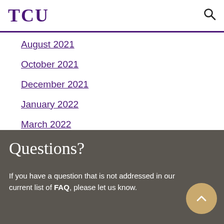TCU
August 2021
October 2021
December 2021
January 2022
March 2022
Questions?
If you have a question that is not addressed in our current list of FAQ, please let us know.